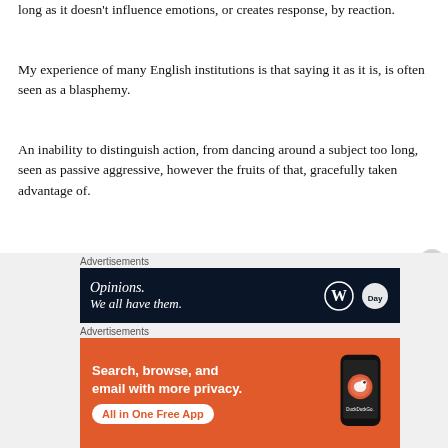long as it doesn't influence emotions, or creates response, by reaction.
My experience of many English institutions is that saying it as it is, is often seen as a blasphemy.
An inability to distinguish action, from dancing around a subject too long, seen as passive aggressive, however the fruits of that, gracefully taken advantage of.
So how did a small representation of WI individuals get to this anti EU sentiment we find ourselves in?
[Figure (other): Advertisement banner for WordPress/Day One showing 'Opinions. We all have them.' text on dark navy background with WordPress and Day One logos]
Advertisements
[Figure (other): DuckDuckGo advertisement with orange background showing 'Search, browse, and email with more privacy. All in One Free App' with phone mockup and DuckDuckGo logo/text]